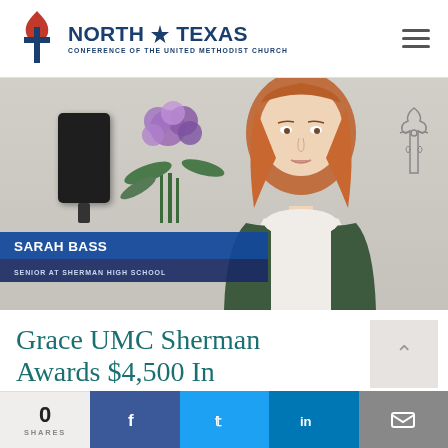North Texas Conference of the United Methodist Church
[Figure (photo): Video screenshot of Sarah Bass, Senior at Sherman High School, standing in a room with a floral arrangement and a decorative cross on the wall. A name lower-third graphic reads 'SARAH BASS / SENIOR AT SHERMAN HIGH SCHOOL'.]
Grace UMC Sherman Awards $4,500 In Scholarships To...
0 SHARES
f (Facebook share button)
t (Twitter share button)
in (LinkedIn share button)
mail (Email share button)